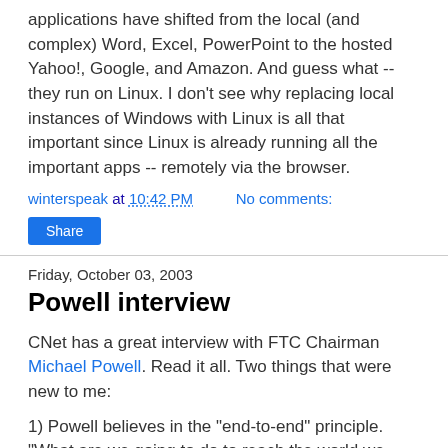applications have shifted from the local (and complex) Word, Excel, PowerPoint to the hosted Yahoo!, Google, and Amazon. And guess what -- they run on Linux. I don't see why replacing local instances of Windows with Linux is all that important since Linux is already running all the important apps -- remotely via the browser.
winterspeak at 10:42 PM   No comments:
Share
Friday, October 03, 2003
Powell interview
CNet has a great interview with FTC Chairman Michael Powell. Read it all. Two things that were new to me:
1) Powell believes in the "end-to-end" principle. "What are we going to do to reach the world we want to see--one in which applications are very separate and can be run over IP?"